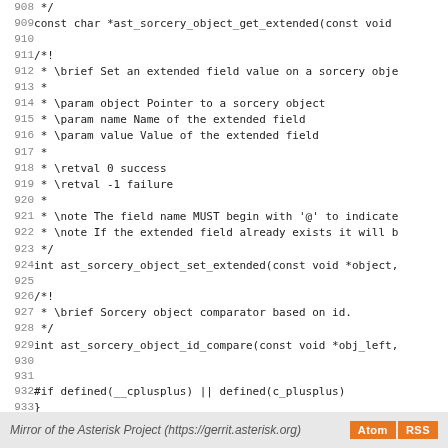Source code listing lines 908-936 of Asterisk sorcery header file
Mirror of the Asterisk Project (https://gerrit.asterisk.org)